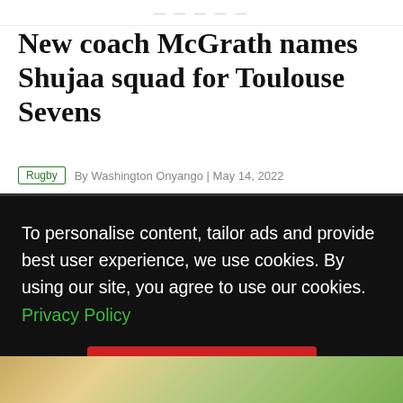New coach McGrath names Shujaa squad for Toulouse Sevens
Rugby  By Washington Onyango | May 14, 2022
To personalise content, tailor ads and provide best user experience, we use cookies. By using our site, you agree to use our cookies. Privacy Policy
Accept & Continue
[Figure (photo): Partial photo strip at bottom of page showing what appears to be rugby players or outdoor scene with warm golden and green tones]